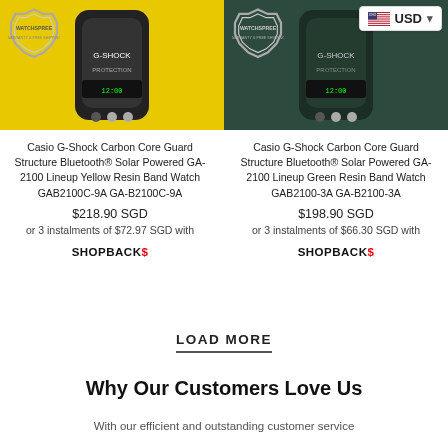[Figure (screenshot): Currency selector badge showing US flag and USD with dropdown chevron in top right corner]
[Figure (photo): Casio G-Shock yellow watch product image with Watchspree badge and carousel dots]
Casio G-Shock Carbon Core Guard Structure Bluetooth® Solar Powered GA-2100 Lineup Yellow Resin Band Watch GAB2100C-9A GA-B2100C-9A
$218.90 SGD
or 3 instalments of $72.97 SGD with SHOPBACK$
[Figure (photo): Casio G-Shock green watch product image with Watchspree badge and carousel dots]
Casio G-Shock Carbon Core Guard Structure Bluetooth® Solar Powered GA-2100 Lineup Green Resin Band Watch GAB2100-3A GA-B2100-3A
$198.90 SGD
or 3 instalments of $66.30 SGD with SHOPBACK$
LOAD MORE
Why Our Customers Love Us
With our efficient and outstanding customer service